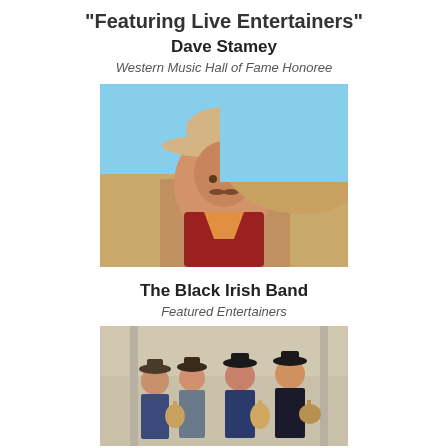"Featuring Live Entertainers"
Dave Stamey
Western Music Hall of Fame Honoree
[Figure (photo): Portrait photo of a man wearing a tan cowboy hat and red shirt with an orange neckerchief, standing in front of sandy hills and blue sky.]
The Black Irish Band
Featured Entertainers
[Figure (photo): Group photo of four men in period/western costume holding string instruments, standing in front of a building with a porch.]